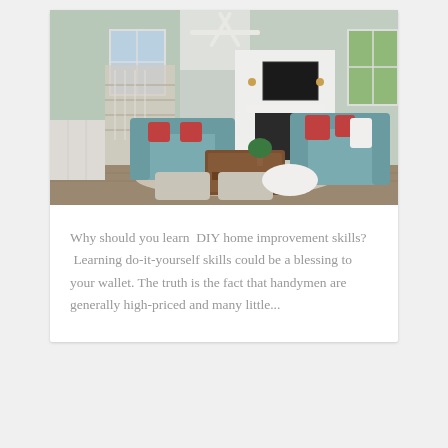[Figure (photo): Interior photo of a bright living room with teal/blue sofas, red accent pillows, a white fireplace with TV above, white wainscoting, light green walls, hardwood floors, white ceiling fan, and large windows with natural light. Beige ottomans in the foreground and a wooden coffee table in the center.]
Why should you learn  DIY home improvement skills?  Learning do-it-yourself skills could be a blessing to your wallet. The truth is the fact that handymen are generally high-priced and many little...